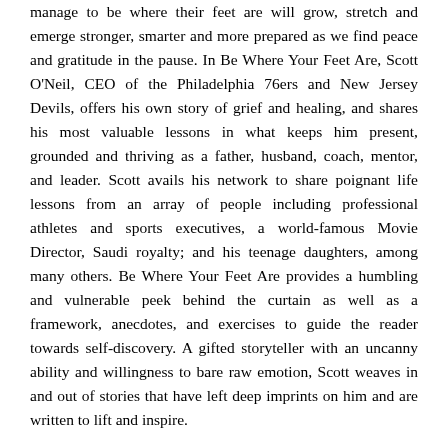manage to be where their feet are will grow, stretch and emerge stronger, smarter and more prepared as we find peace and gratitude in the pause. In Be Where Your Feet Are, Scott O'Neil, CEO of the Philadelphia 76ers and New Jersey Devils, offers his own story of grief and healing, and shares his most valuable lessons in what keeps him present, grounded and thriving as a father, husband, coach, mentor, and leader. Scott avails his network to share poignant life lessons from an array of people including professional athletes and sports executives, a world-famous Movie Director, Saudi royalty; and his teenage daughters, among many others. Be Where Your Feet Are provides a humbling and vulnerable peek behind the curtain as well as a framework, anecdotes, and exercises to guide the reader towards self-discovery. A gifted storyteller with an uncanny ability and willingness to bare raw emotion, Scott weaves in and out of stories that have left deep imprints on him and are written to lift and inspire.